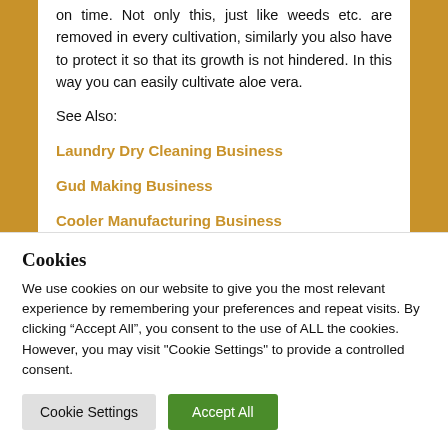on time. Not only this, just like weeds etc. are removed in every cultivation, similarly you also have to protect it so that its growth is not hindered. In this way you can easily cultivate aloe vera.
See Also:
Laundry Dry Cleaning Business
Gud Making Business
Cooler Manufacturing Business
Cookies
We use cookies on our website to give you the most relevant experience by remembering your preferences and repeat visits. By clicking “Accept All”, you consent to the use of ALL the cookies. However, you may visit "Cookie Settings" to provide a controlled consent.